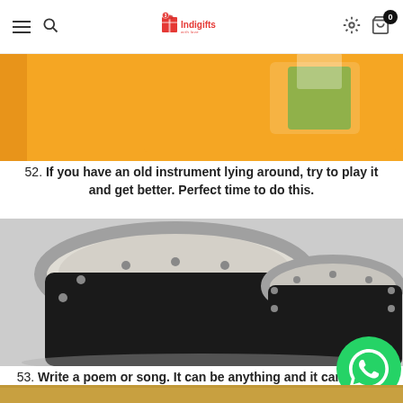Indigifts — navigation header with hamburger menu, search, logo, settings, and cart (0 items)
[Figure (photo): Partial view of a product with orange background, cropped at top]
52. If you have an old instrument lying around, try to play it and get better. Perfect time to do this.
[Figure (photo): Two black bongo drums on a light grey surface, viewed from above and slightly to the side]
53. Write a poem or song. It can be anything and it can be just for yourself.
[Figure (photo): Bottom partial strip of another image with golden/yellow tones]